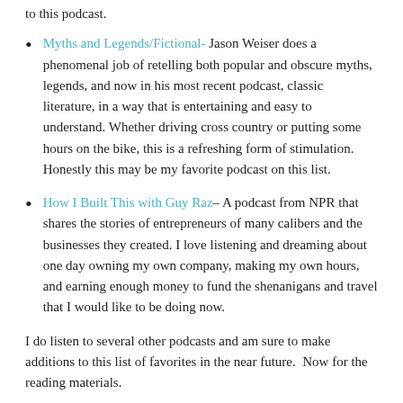to this podcast.
Myths and Legends/Fictional- Jason Weiser does a phenomenal job of retelling both popular and obscure myths, legends, and now in his most recent podcast, classic literature, in a way that is entertaining and easy to understand. Whether driving cross country or putting some hours on the bike, this is a refreshing form of stimulation.  Honestly this may be my favorite podcast on this list.
How I Built This with Guy Raz– A podcast from NPR that shares the stories of entrepreneurs of many calibers and the businesses they created. I love listening and dreaming about one day owning my own company, making my own hours, and earning enough money to fund the shenanigans and travel that I would like to be doing now.
I do listen to several other podcasts and am sure to make additions to this list of favorites in the near future.  Now for the reading materials.